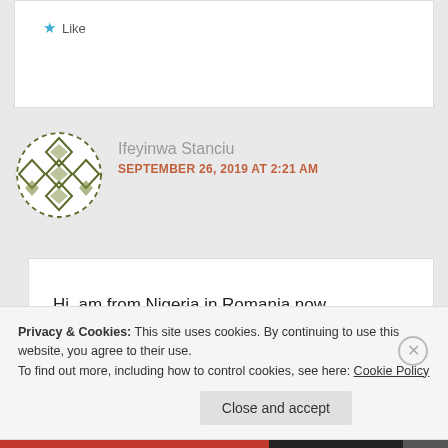★ Like
[Figure (illustration): Circular avatar with olive green geometric/diamond pattern on white background]
Ifeyinwa Stanciu
SEPTEMBER 26, 2019 AT 2:21 AM
Hi, am from Nigeria in Romania now
★ Like
Privacy & Cookies: This site uses cookies. By continuing to use this website, you agree to their use.
To find out more, including how to control cookies, see here: Cookie Policy
Close and accept